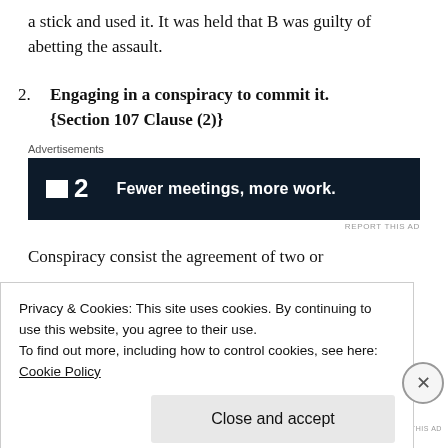a stick and used it. It was held that B was guilty of abetting the assault.
2. Engaging in a conspiracy to commit it. {Section 107 Clause (2)}
[Figure (other): Advertisement banner: P2 logo with tagline 'Fewer meetings, more work.' on dark background]
Conspiracy consist the agreement of two or
Privacy & Cookies: This site uses cookies. By continuing to use this website, you agree to their use. To find out more, including how to control cookies, see here: Cookie Policy
Close and accept